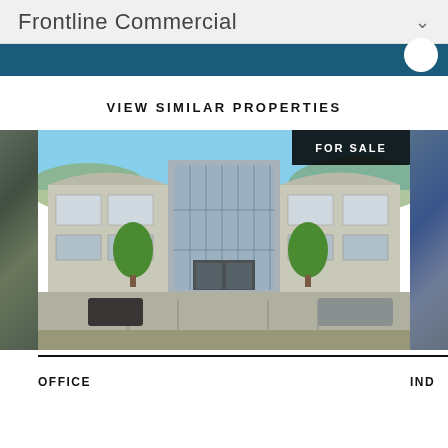Frontline Commercial
VIEW SIMILAR PROPERTIES
[Figure (photo): Commercial office building exterior photo showing a modern two-story commercial complex with glass facade, trees in parking lot. FOR SALE badge in top right corner. Partial views of other properties on left and right edges.]
OFFICE
IND